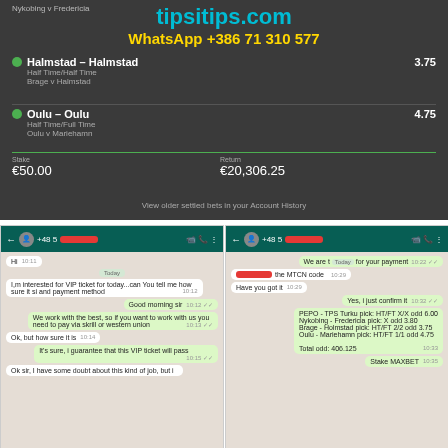[Figure (screenshot): Screenshot of a betting slip showing Halmstad vs Halmstad (HT/FT, odds 3.75) and Oulu vs Oulu (HT/FT, odds 4.75), stake €50.00, return €20,306.25, with tipsitips.com and WhatsApp +386 71 310 577 overlay.]
[Figure (screenshot): Two WhatsApp chat screenshots side by side showing conversation about VIP betting tips, payment via skrill/western union, MTCN code, and picks including PEPO-TPS Turku HT/FT X/X odd 6.00, Nykobing-Fredericia X odd 3.80, Brage-Holmstad HT/FT 2/2 odd 3.75, Oulu-Mariehamn HT/FT 1/1 odd 4.75, Total odd: 406.125.]